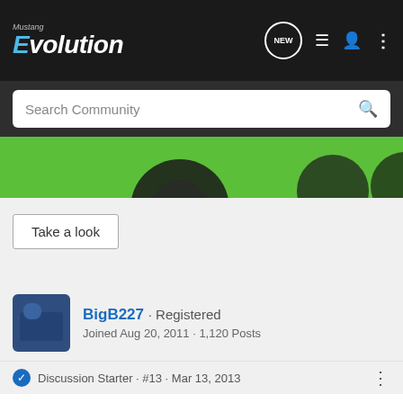Mustang Evolution — NEW · List · User · Menu icons · Search Community
[Figure (screenshot): Green banner image showing partial car wheel/tire]
Take a look
BigB227 · Registered
Joined Aug 20, 2011 · 1,120 Posts
Discussion Starter · #13 · Mar 13, 2013
Setting it to negative seemed to make the firmness go completely away so ill just keep it at 0
[Figure (screenshot): Optima Batteries advertisement banner]